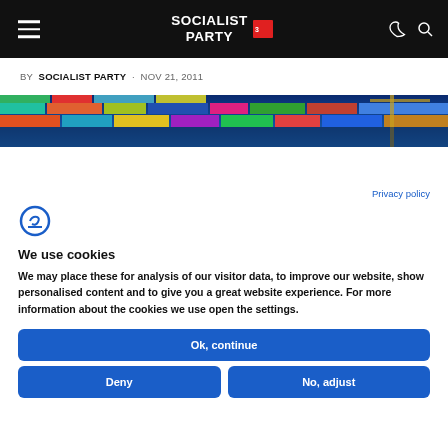SOCIALIST PARTY
BY SOCIALIST PARTY · NOV 21, 2011
[Figure (photo): Aerial view of a shipping port with colorful cargo containers and cranes]
Privacy policy
[Figure (logo): Cookiebot logo icon]
We use cookies
We may place these for analysis of our visitor data, to improve our website, show personalised content and to give you a great website experience. For more information about the cookies we use open the settings.
Ok, continue
Deny
No, adjust